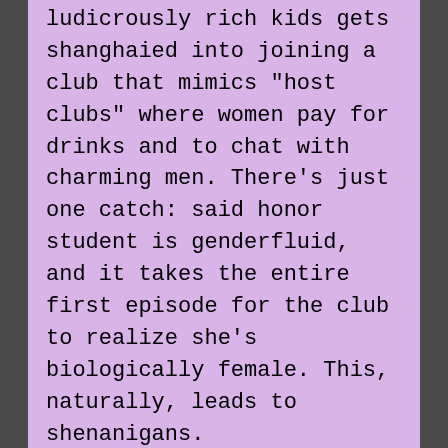ludicrously rich kids gets shanghaied into joining a club that mimics "host clubs" where women pay for drinks and to chat with charming men. There's just one catch: said honor student is genderfluid, and it takes the entire first episode for the club to realize she's biologically female. This, naturally, leads to shenanigans.
Starship Grifters – A comedy space opera novel about a con man, Rex Nihilo, and his long-suffering robot girl Friday, Sasha, as they attempt to make the best out of getting saddled with a useless planet tied to a massive debt. The humor can be hit or miss, but generally lands, especially when targeted at pop culture touchstones like Star Wars.